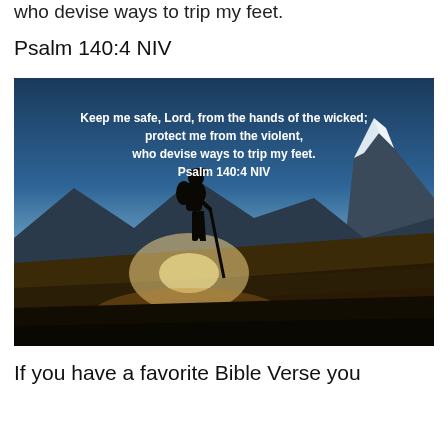who devise ways to trip my feet.
Psalm 140:4 NIV
[Figure (photo): A hiker with a backpack and walking stick stands silhouetted against a bright mountain landscape with snow-capped peaks. Overlaid white bold text reads: 'Keep me safe, Lord, from the hands of the wicked; protect me from the violent, who devise ways to trip my feet. Psalm 140:4 NIV']
If you have a favorite Bible Verse you